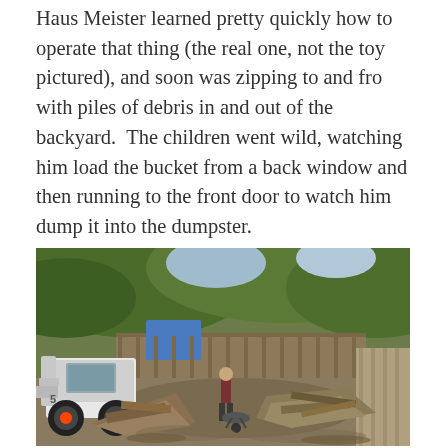Haus Meister learned pretty quickly how to operate that thing (the real one, not the toy pictured), and soon was zipping to and fro with piles of debris in and out of the backyard.  The children went wild, watching him load the bucket from a back window and then running to the front door to watch him dump it into the dumpster.
[Figure (photo): Outdoor backyard scene showing a white Bobcat skid-steer loader on the left with orange wheels, a person standing in the middle amid piles of debris and lumber, wooden fencing in the background, and large trees with green foliage overhead.]